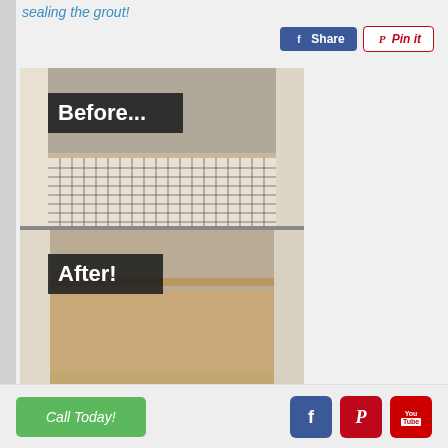sealing the grout!
[Figure (photo): Before and after photo of a shower floor. Top half labeled 'Before...' shows a tiled shower floor with grout lines visible. Bottom half labeled 'After!' shows the same shower floor with cleaned/sealed grout, appearing much cleaner.]
Call Today!